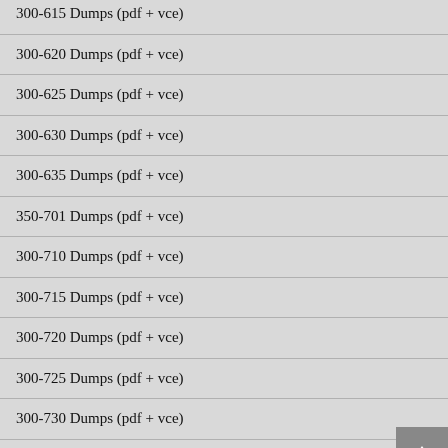300-615 Dumps (pdf + vce)
300-620 Dumps (pdf + vce)
300-625 Dumps (pdf + vce)
300-630 Dumps (pdf + vce)
300-635 Dumps (pdf + vce)
350-701 Dumps (pdf + vce)
300-710 Dumps (pdf + vce)
300-715 Dumps (pdf + vce)
300-720 Dumps (pdf + vce)
300-725 Dumps (pdf + vce)
300-730 Dumps (pdf + vce)
300-735 Dumps (pdf + vce)